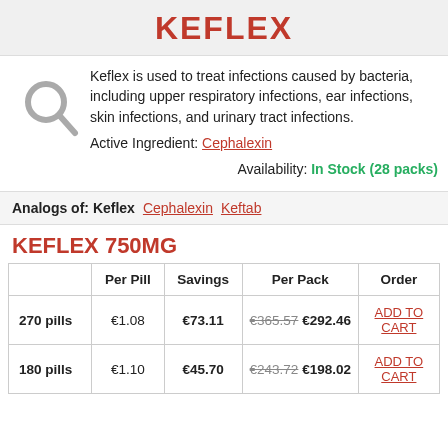KEFLEX
Keflex is used to treat infections caused by bacteria, including upper respiratory infections, ear infections, skin infections, and urinary tract infections.
Active Ingredient: Cephalexin
Availability: In Stock (28 packs)
Analogs of: Keflex   Cephalexin   Keftab
KEFLEX 750MG
|  | Per Pill | Savings | Per Pack | Order |
| --- | --- | --- | --- | --- |
| 270 pills | €1.08 | €73.11 | €365.57 €292.46 | ADD TO CART |
| 180 pills | €1.10 | €45.70 | €243.72 €198.02 | ADD TO CART |